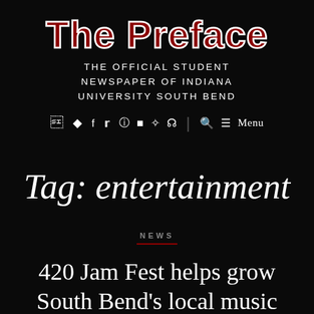The Preface
THE OFFICIAL STUDENT NEWSPAPER OF INDIANA UNIVERSITY SOUTH BEND
f  t  [camera icon]  |  [search icon]  ≡ Menu
Tag: entertainment
NEWS
420 Jam Fest helps grow South Bend's local music